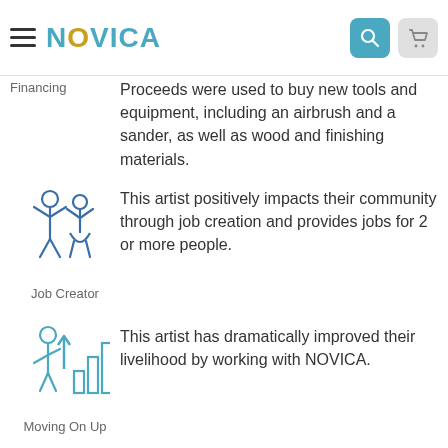NOVICA
Proceeds were used to buy new tools and equipment, including an airbrush and a sander, as well as wood and finishing materials.
[Figure (illustration): Two human figures with arms raised, icon representing Job Creator badge]
This artist positively impacts their community through job creation and provides jobs for 2 or more people.
Job Creator
[Figure (illustration): Person standing next to bar chart icon, representing Moving On Up badge]
This artist has dramatically improved their livelihood by working with NOVICA.
Moving On Up
Customer & Stylist Suggestions
Meet the Artist